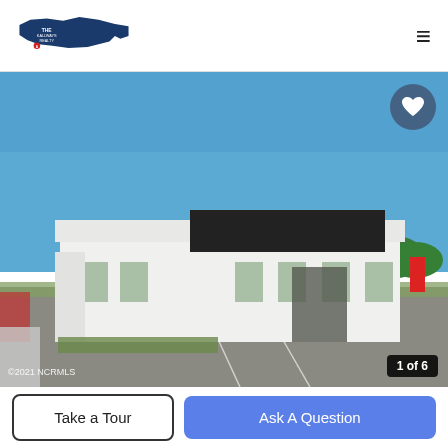[Figure (logo): The Kallways Realty logo with North Carolina state shape in dark blue]
[Figure (photo): Exterior photo of a white single-story commercial building with a large dark sign panel, surrounded by a paved parking lot under a blue sky. Watermark reads ©2021 NCRMLS. Counter shows 1 of 6.]
Take a Tour
Ask A Question